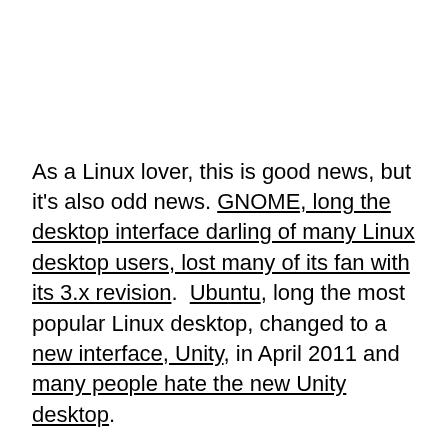As a Linux lover, this is good news, but it's also odd news. GNOME, long the desktop interface darling of many Linux desktop users, lost many of its fan with its 3.x revision. Ubuntu, long the most popular Linux desktop, changed to a new interface, Unity, in April 2011 and many people hate the new Unity desktop.